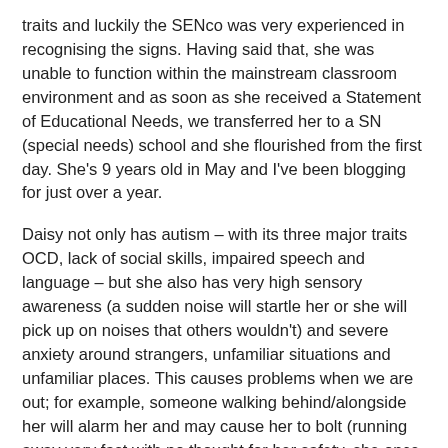traits and luckily the SENco was very experienced in recognising the signs. Having said that, she was unable to function within the mainstream classroom environment and as soon as she received a Statement of Educational Needs, we transferred her to a SN (special needs) school and she flourished from the first day. She's 9 years old in May and I've been blogging for just over a year.
Daisy not only has autism – with its three major traits OCD, lack of social skills, impaired speech and language – but she also has very high sensory awareness (a sudden noise will startle her or she will pick up on noises that others wouldn't) and severe anxiety around strangers, unfamiliar situations and unfamiliar places. This causes problems when we are out; for example, someone walking behind/alongside her will alarm her and may cause her to bolt (running away very fast with no thought for her safety, she once ran into the path of a (fortunately slowing down) bus. She will also "meltdown" when overwhelmed by either a sensory element or situation she cannot understand, this can be sudden, noisy and occasionally violent. For these reasons, primarily her safety, we use a SN buggy when out.
We are also starting the diagnostic process for my ten year old son, T on the blog. We have suspected for a while that he is also on the spectrum but at the higher-functioning end. This means that he has the